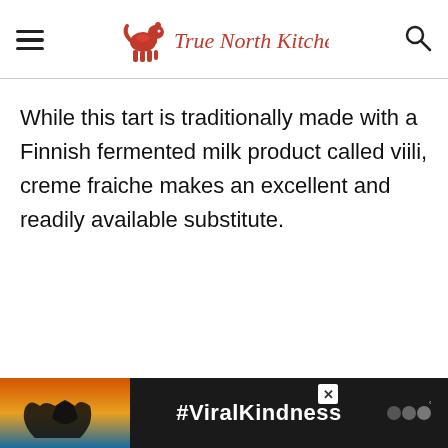True North Kitchen
While this tart is traditionally made with a Finnish fermented milk product called viili, creme fraiche makes an excellent and readily available substitute.
[Figure (infographic): Advertisement banner showing hands forming a heart shape against a sunset background with text '#ViralKindness' and a logo on the right]